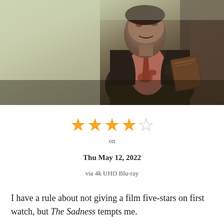[Figure (photo): A man in a dark jacket with a bloodied pink shirt, holding something to his chest, looking upward in a dimly lit scene from the horror film The Sadness.]
[Figure (other): 4 out of 5 filled star rating with one empty star, displayed in orange/gold color.]
on
Thu May 12, 2022
via 4k UHD Blu-ray
I have a rule about not giving a film five-stars on first watch, but The Sadness tempts me.